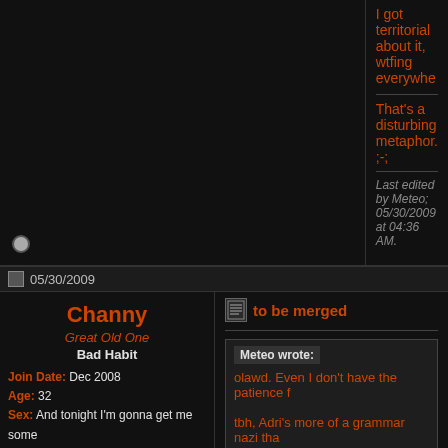I got territorial about it, wtfing everywhe
That's a disturbing metaphor. ;-;
Last edited by Meteo; 05/30/2009 at 04:36 AM.
05/30/2009
Channy
Great Old One
Bad Habit
Join Date: Dec 2008
Age: 32
Sex: And tonight I'm gonna get me some
Location: Canadia
AKA: Channy, Aerith Gainsborough, Ruby Rose, Lucy
to be merged
Meteo wrote:
olawd. Even I don't have the patience f
tbh, Adri's more of a grammar nazi tha
That's a disturbing metaphor. ;-;
I'm jus saying.
And that's true, she is. But look at our deb
It's moar or less what happened though. <